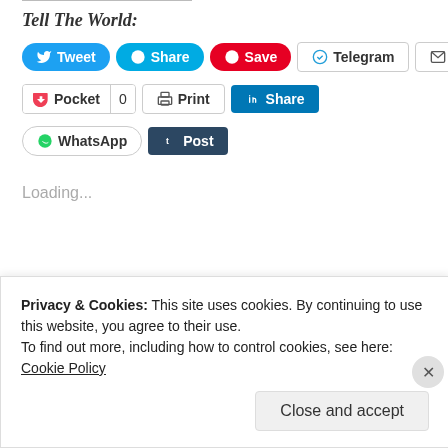Tell The World:
[Figure (screenshot): Social sharing buttons row 1: Tweet, Share, Save, Telegram, Email]
[Figure (screenshot): Social sharing buttons row 2: Pocket (0), Print, Share (LinkedIn)]
[Figure (screenshot): Social sharing buttons row 3: WhatsApp, Post (Tumblr)]
Loading...
Related
[Figure (photo): Two related article thumbnail images showing food]
Privacy & Cookies: This site uses cookies. By continuing to use this website, you agree to their use.
To find out more, including how to control cookies, see here:
Cookie Policy
Close and accept